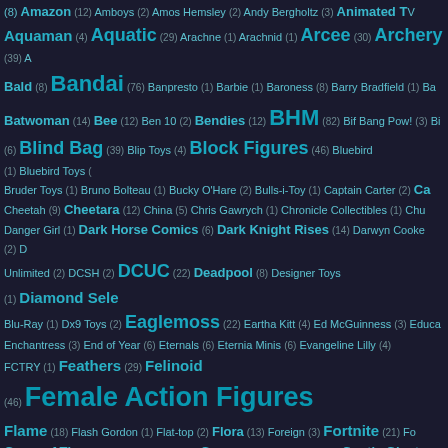Tag cloud of action figure categories including Amazon (12), Amboys (2), Amos Hemsley (2), Andy Bergholtz (3), Animated TV, Aquaman (4), Aquatic (29), Arachne (1), Arachnid (1), Arcee (30), Archery (39), Bald (8), Bandai (76), Banpresto (1), Barbie (1), Baroness (8), Barry Bradfield (1), Batwoman (14), Bee (12), Ben 10 (2), Bendies (12), BHM (82), Bif Bang Pow! (3), Blind Bag (39), Blip Toys (4), Block Figures (46), Bluebird (1), Bluebird Toys, Bruder Toys (1), Bruno Bolteau (1), Bucky O'Hare (2), Bulls-i-Toy (1), Captain Carter (2), Cheetah (9), Cheetara (12), China (5), Chris Gawrych (1), Chronicle Collectibles (1), Danger Girl (1), Dark Horse Comics (6), Dark Knight Rises (14), Darwyn Cooke (2), Unlimited (2), DCSH (2), DCUC (22), Deadpool (8), Designer Toys (1), Diamond Select, Blu-Ray (1), Dx9 Toys (2), Eaglemoss (22), Eartha Kitt (4), Ed McGuinness (3), Educational, Enchantress (3), End of Year (6), Eternals (6), Eternia Minis (6), Evangeline Lilly (4), FCTRY (1), Feathers (29), Felinoid (46), Female Action Figures, Flame (18), Flash Gordon (1), Flat-top (2), Flora (13), Foreign (3), Fortnite (21), Game of Thrones (6), GameStop (6), Gamora (15), Gargoyles (3), Gentle Giant (16), Age (2), Gormiti (1), Gotham (2), Gothtropolis (2), Goutaro Takeuchi (2), Graphic Novels (1), Blue (28), Hair-Green (28), Hair-Pink (31), Hair-Purple (28), Hair-Silver (2), HealeyMade (1), Heathside (1), Helicopter (4), Hellfire Club (6), Heroclix (10), HIA To, Image (7), Imaginext (28), IMC Toys (1), Import (15), Impossible Toys (2), Incendium, Factory (5), Iron Man (8), Iron Studios (1), Ironheart (3), Italy (3), Ivan Reis (1), Jada To, Jean (5), Jessica Drew (9), Jessica Jones (3), Jia Qi (1), Jim Henson (5), Jim Lee, Snyder (1), JoyRide Studios (1), Jubilee (3), Julia Carpenter (2), Julie Newmar (13), Junn, Kamen Rider (4), Karen Palinko (20), Katana (2), Keita Misonou (3), Kenner (21), Kristina Gaughran (3), Kubrick (3), Kucharek Bros (2), Lady Deadpool (2), Lady Ja, Living Toys (1), LJN Toys (1), Lois Lane (2), LOTR (5), Loyal Subjects (4), Lycanthrope, Marvel (256)